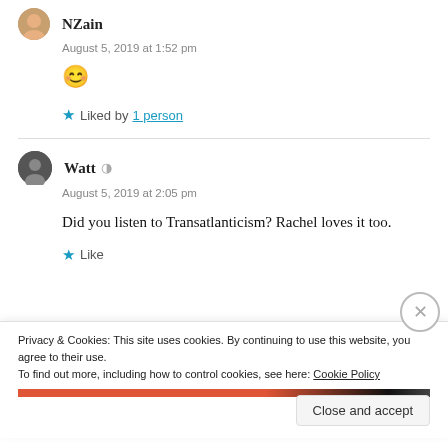NZain
August 5, 2019 at 1:52 pm
😊
★ Liked by 1 person
Watt
August 5, 2019 at 2:05 pm
Did you listen to Transatlanticism? Rachel loves it too.
★ Like
Privacy & Cookies: This site uses cookies. By continuing to use this website, you agree to their use. To find out more, including how to control cookies, see here: Cookie Policy
Close and accept